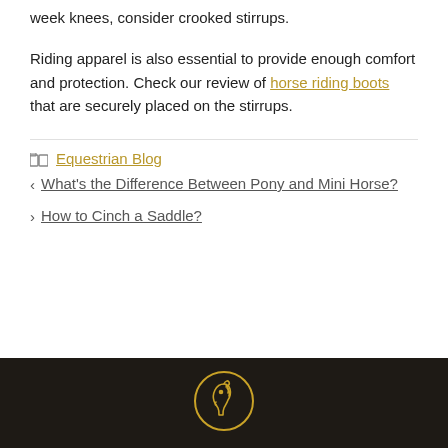week knees, consider crooked stirrups.
Riding apparel is also essential to provide enough comfort and protection. Check our review of horse riding boots that are securely placed on the stirrups.
Categories: Equestrian Blog
< What's the Difference Between Pony and Mini Horse?
> How to Cinch a Saddle?
[Figure (logo): Circular horse head logo in gold outline on dark brown footer background]